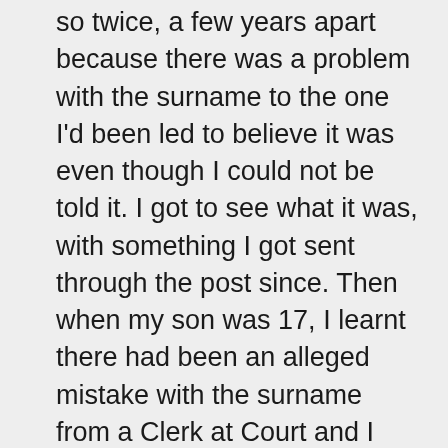so twice, a few years apart because there was a problem with the surname to the one I'd been led to believe it was even though I could not be told it. I got to see what it was, with something I got sent through the post since. Then when my son was 17, I learnt there had been an alleged mistake with the surname from a Clerk at Court and I was able to prove it but that evidence got dismissed straight away without the Judge being sent it as promised as I recall. I say alleged, I have copies of them. It's the legality side why I'm questioning